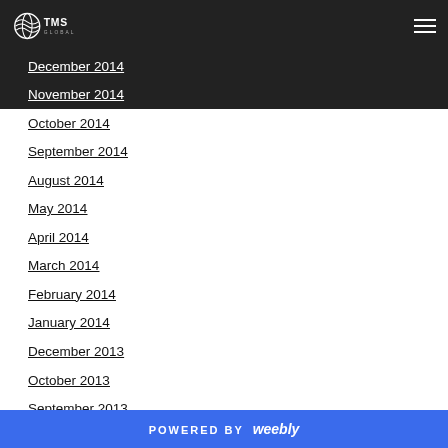TMS Global
December 2014
November 2014
October 2014
September 2014
August 2014
May 2014
April 2014
March 2014
February 2014
January 2014
December 2013
October 2013
September 2013
August 2013
February 2013
January 2013
December 2012
POWERED BY weebly